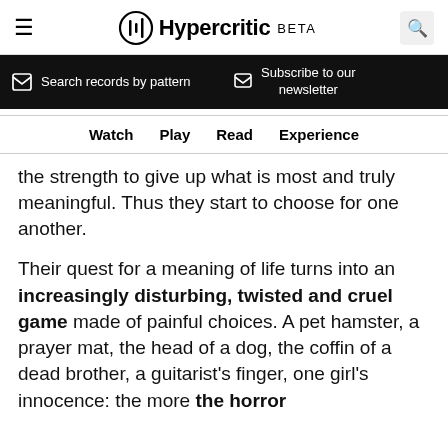Hypercritic BETA
Search records by pattern
Subscribe to our newsletter
Watch  Play  Read  Experience
the strength to give up what is most and truly meaningful. Thus they start to choose for one another.
Their quest for a meaning of life turns into an increasingly disturbing, twisted and cruel game made of painful choices. A pet hamster, a prayer mat, the head of a dog, the coffin of a dead brother, a guitarist's finger, one girl's innocence: the more the horror